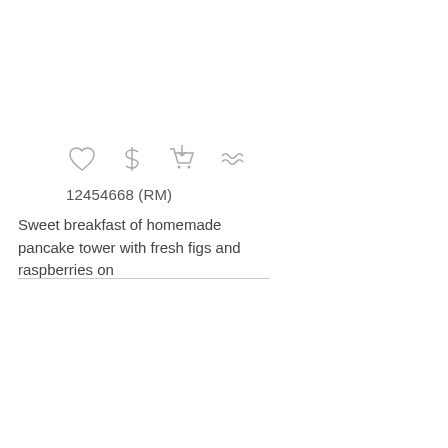[Figure (infographic): Row of four icons: heart, dollar sign, shopping cart with download arrow, and tilde/approximately-equal symbol, rendered as outlines in light gray.]
12454668 (RM)
Sweet breakfast of homemade pancake tower with fresh figs and raspberries on